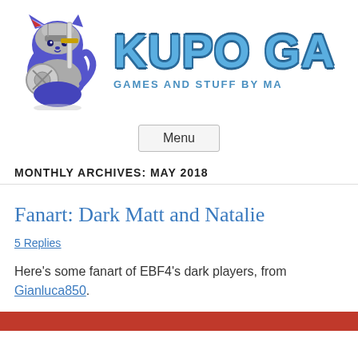[Figure (logo): Kupo Games logo: blue cartoon cat with sword and shield, armored knight style]
KUPO GA…
GAMES AND STUFF BY MA…
Menu
MONTHLY ARCHIVES: MAY 2018
Fanart: Dark Matt and Natalie
5 Replies
Here's some fanart of EBF4's dark players, from Gianluca850.
[Figure (illustration): Red-themed illustration at the bottom of the page, partially visible]